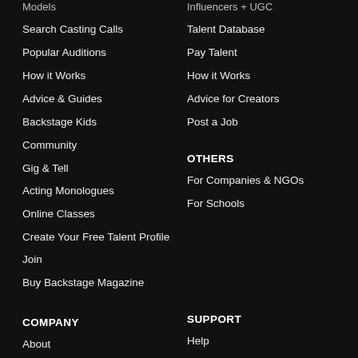Models
Influencers + UGC
Search Casting Calls
Talent Database
Popular Auditions
Pay Talent
How it Works
How it Works
Advice & Guides
Advice for Creators
Backstage Kids
Post a Job
Community
OTHERS
Gig & Tell
For Companies & NGOs
Acting Monologues
For Schools
Online Classes
Create Your Free Talent Profile
Join
Buy Backstage Magazine
COMPANY
SUPPORT
About
Help
The Team
Contact
Careers
Pricing